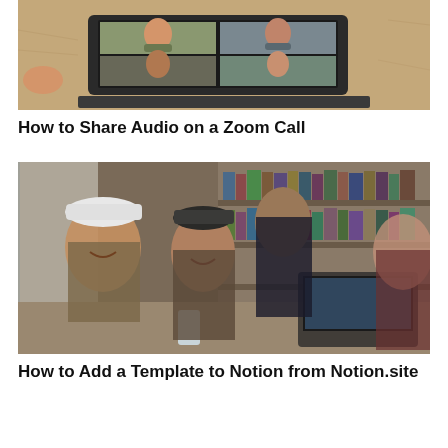[Figure (photo): A laptop on a wooden desk showing a Zoom video call with multiple participants including children and young adults]
How to Share Audio on a Zoom Call
[Figure (photo): A group of people gathered around a laptop in a library setting, laughing and collaborating together]
How to Add a Template to Notion from Notion.site